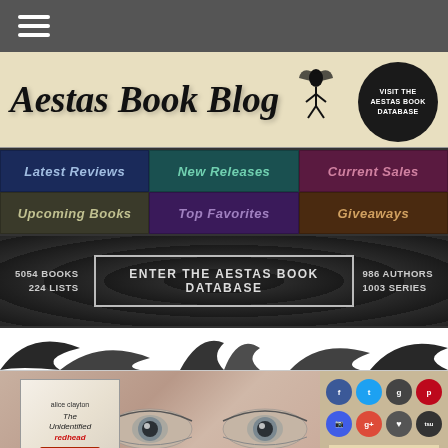☰ (hamburger menu)
Aestas Book Blog
VISIT THE AESTAS BOOK DATABASE
Latest Reviews
New Releases
Current Sales
Upcoming Books
Top Favorites
Giveaways
5054 BOOKS
224 LISTS
ENTER THE AESTAS BOOK DATABASE
986 AUTHORS
1003 SERIES
[Figure (illustration): Book cover for The Unidentified Redhead by Alice Clayton, shown next to a close-up of a woman's face with striking eyes]
[Figure (infographic): Social media icons grid: Facebook, Twitter, Goodreads, Pinterest, Instagram, Google+, heart/follow, TSU]
THIS BLOG OFFERS...